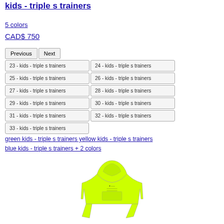kids - triple s trainers
5 colors
CAD$ 750
[Figure (screenshot): Grid of size selector buttons for kids triple s trainers, sizes 23-33, with Previous and Next navigation buttons]
green kids - triple s trainers yellow kids - triple s trainers blue kids - triple s trainers + 2 colors
[Figure (photo): Yellow-green neon kids hoodie sweatshirt product photo]